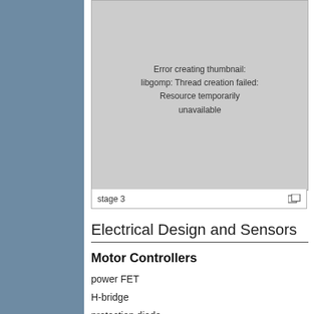[Figure (other): Thumbnail placeholder showing error: 'Error creating thumbnail: libgomp: Thread creation failed: Resource temporarily unavailable'. Labeled 'stage 3' at bottom.]
Electrical Design and Sensors
Motor Controllers
power FET
H-bridge
protection diode